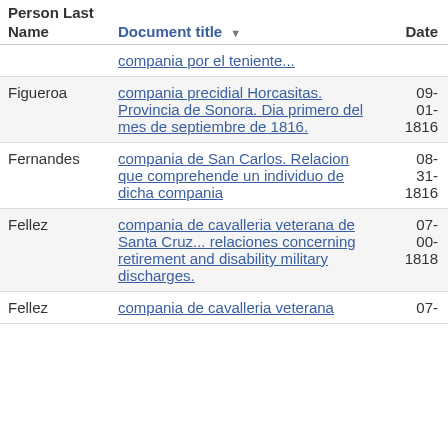| Person Last Name | Document title | Date |
| --- | --- | --- |
|  | compania por el teniente... |  |
| Figueroa | compania precidial Horcasitas. Provincia de Sonora. Dia primero del mes de septiembre de 1816. | 09-01-1816 |
| Fernandes | compania de San Carlos. Relacion que comprehende un individuo de dicha compania | 08-31-1816 |
| Fellez | compania de cavalleria veterana de Santa Cruz... relaciones concerning retirement and disability military discharges. | 07-00-1818 |
| Fellez | compania de cavalleria veterana | 07- |